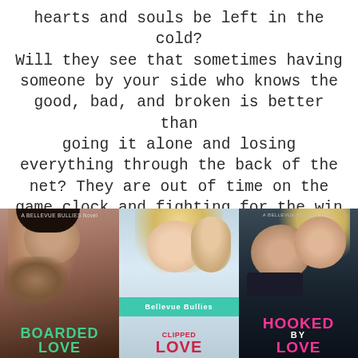hearts and souls be left in the cold? Will they see that sometimes having someone by your side who knows the good, bad, and broken is better than going it alone and losing everything through the back of the net? They are out of time on the game clock and fighting for the win of their lives.
But overtime was made for an Assassin like Jordie.
[Figure (illustration): Three book covers side by side: 'Boarded Love' (A Bellevue Bullies Novel) showing a tattooed man, 'Clipped/Curred Love' (Bellevue Bullies) showing a couple close together with teal and pink text, and 'Hooked by Love' (A Bellevue Bullies Novel) showing a couple kissing with pink text.]